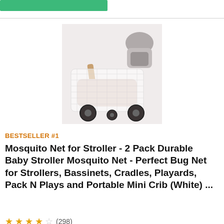[Figure (photo): Product photo of a mosquito net draped over a baby stroller, with a small infant car seat visible in the background.]
BESTSELLER #1
Mosquito Net for Stroller - 2 Pack Durable Baby Stroller Mosquito Net - Perfect Bug Net for Strollers, Bassinets, Cradles, Playards, Pack N Plays and Portable Mini Crib (White) ...
★★★½☆ (298)